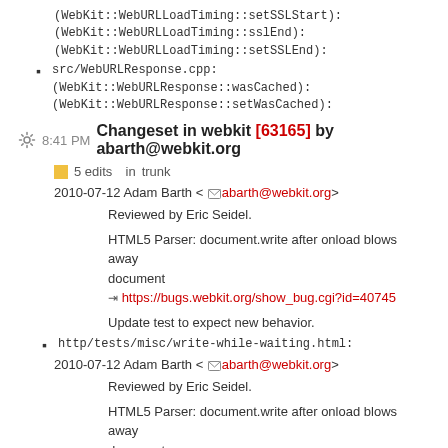(WebKit::WebURLLoadTiming::setSSLStart): (WebKit::WebURLLoadTiming::sslEnd): (WebKit::WebURLLoadTiming::setSSLEnd):
src/WebURLResponse.cpp: (WebKit::WebURLResponse::wasCached): (WebKit::WebURLResponse::setWasCached):
8:41 PM Changeset in webkit [63165] by abarth@webkit.org
5 edits   in trunk
2010-07-12 Adam Barth <abarth@webkit.org>
Reviewed by Eric Seidel.
HTML5 Parser: document.write after onload blows away document
https://bugs.webkit.org/show_bug.cgi?id=40745
Update test to expect new behavior.
http/tests/misc/write-while-waiting.html:
2010-07-12 Adam Barth <abarth@webkit.org>
Reviewed by Eric Seidel.
HTML5 Parser: document.write after onload blows away document
https://bugs.webkit.org/show_bug.cgi?id=40745
Rather than blowing away the document when we get a